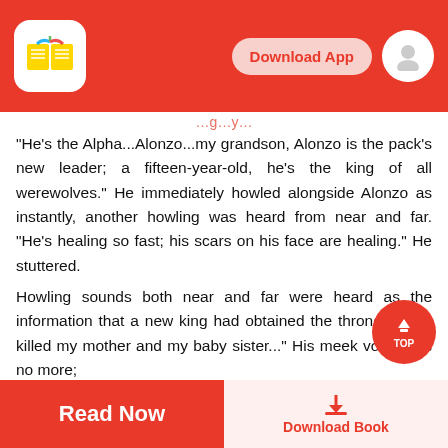Download App
"He's the Alpha...Alonzo...my grandson, Alonzo is the pack's new leader; a fifteen-year-old, he's the king of all werewolves." He immediately howled alongside Alonzo as instantly, another howling was heard from near and far. "He's healing so fast; his scars on his face are healing." He stuttered.
Howling sounds both near and far were heard as the information that a new king had obtained the throne. "They killed my mother and my baby sister..." His meek voice was no more;
Alonzo's Voice was replaced with a baritone growl. ...st avenge my family's death!" He was about to take... was head on his shoulder by his grandfather.
Read Now | Download Book